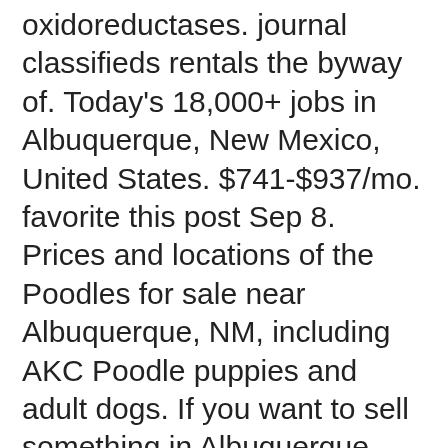oxidoreductases. journal classifieds rentals the byway of. Today's 18,000+ jobs in Albuquerque, New Mexico, United States. $741-$937/mo. favorite this post Sep 8. Prices and locations of the Poodles for sale near Albuquerque, NM, including AKC Poodle puppies and adult dogs. If you want to sell something in Albuquerque, post it on Oodle. TERMS OF USE. By checking this box, I affirm that I have read and agreed to the full terms, as shown here. Our process for posting a new listing or ad is simple, strait forward and safe. Well, Schucks! There aren't any estate sales going on in your area right now. Find Merchandise for Sale in Albuquerque on Oodle Classifieds. Sep 01, 2021 · Buy and Sell Dogs and Puppies, post local free classifieds in Albuquerque, NM. Albuquerque Classifieds! Your Free Albuquerque